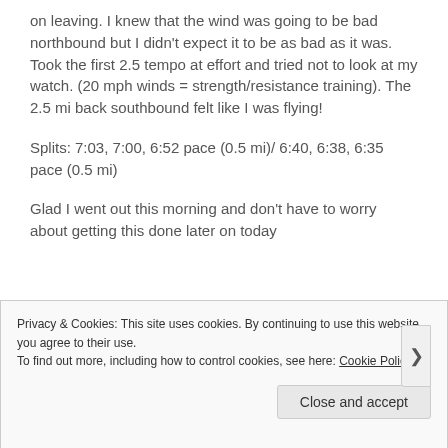on leaving. I knew that the wind was going to be bad northbound but I didn't expect it to be as bad as it was. Took the first 2.5 tempo at effort and tried not to look at my watch. (20 mph winds = strength/resistance training). The 2.5 mi back southbound felt like I was flying!
Splits: 7:03, 7:00, 6:52 pace (0.5 mi)/ 6:40, 6:38, 6:35 pace (0.5 mi)
Glad I went out this morning and don't have to worry about getting this done later on today
Privacy & Cookies: This site uses cookies. By continuing to use this website, you agree to their use.
To find out more, including how to control cookies, see here: Cookie Policy
Close and accept